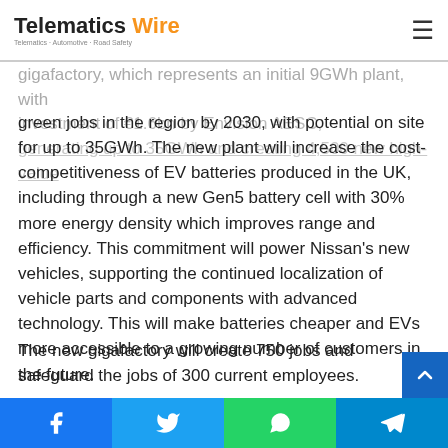Telematics Wire
gigafactory, which represents an initial 9GWh plant, with investment of €1.6bn by Envision AESC, generating up to 35GWh and creating 4,500 new high-value green jobs in the region by 2030, with potential on site for up to 35GWh. The new plant will increase the cost-competitiveness of EV batteries produced in the UK, including through a new Gen5 battery cell with 30% more energy density which improves range and efficiency. This commitment will power Nissan's new vehicles, supporting the continued localization of vehicle parts and components with advanced technology. This will make batteries cheaper and EVs more accessible to a growing number of customers in the future.
The new gigafactory will create 750 jobs and safeguard the jobs of 300 current employees.
Facebook Twitter WhatsApp Telegram